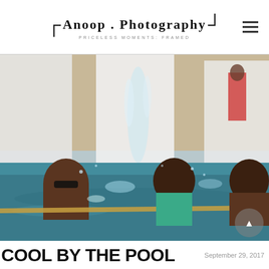ANOOP . PHOTOGRAPHY — PRICELESS MOMENTS: FRAMED
[Figure (photo): People playing in a pool with a water fountain/jet in the background; a man in sunglasses and two women holding a rope in the pool, splashing water; white draped fabric and sandy beach in background]
COOL BY THE POOL
September 29, 2017